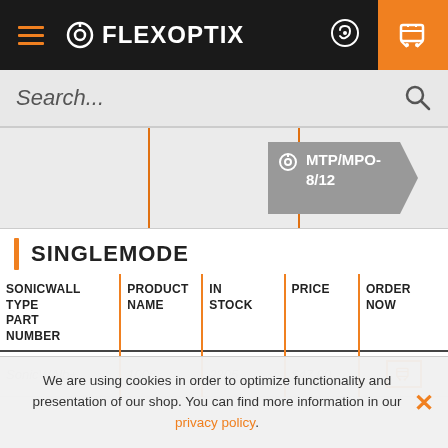FLEXOPTIX
[Figure (screenshot): MTP/MPO-8/12 filter tab active in product filter navigation]
SINGLEMODE
| SONICWALL TYPE PART NUMBER | PRODUCT NAME | IN STOCK | PRICE | ORDER NOW |
| --- | --- | --- | --- | --- |
| SonicWAll b+ | 1006 | 2205 | $47.00 | cart icon |
We are using cookies in order to optimize functionality and presentation of our shop. You can find more information in our privacy policy.